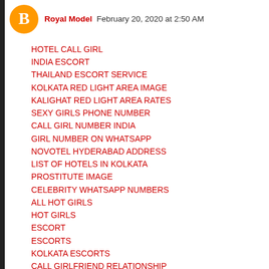Royal Model  February 20, 2020 at 2:50 AM
HOTEL CALL GIRL
INDIA ESCORT
THAILAND ESCORT SERVICE
KOLKATA RED LIGHT AREA IMAGE
KALIGHAT RED LIGHT AREA RATES
SEXY GIRLS PHONE NUMBER
CALL GIRL NUMBER INDIA
GIRL NUMBER ON WHATSAPP
NOVOTEL HYDERABAD ADDRESS
LIST OF HOTELS IN KOLKATA
PROSTITUTE IMAGE
CELEBRITY WHATSAPP NUMBERS
ALL HOT GIRLS
HOT GIRLS
ESCORT
ESCORTS
KOLKATA ESCORTS
CALL GIRLFRIEND RELATIONSHIP
CALL GIRL NAMES
ESCORTS IN KOLKATA
ESCORT SERVICE IN KOLKATA
DESI CALL GIRL
KOLKATA ESCORT SERVICE
GIRLS WHATSAPP NUMBERS